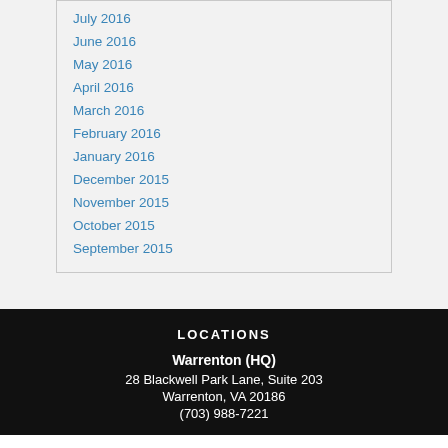July 2016
June 2016
May 2016
April 2016
March 2016
February 2016
January 2016
December 2015
November 2015
October 2015
September 2015
LOCATIONS
Warrenton (HQ)
28 Blackwell Park Lane, Suite 203
Warrenton, VA 20186
(703) 988-7221